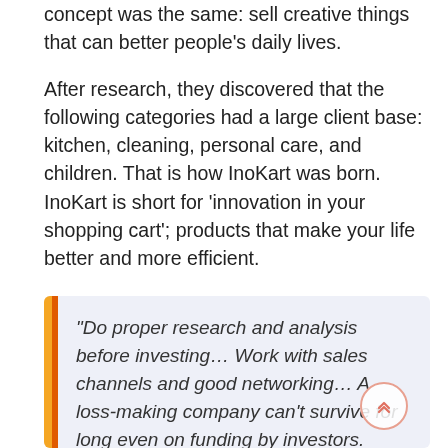concept was the same: sell creative things that can better people's daily lives.
After research, they discovered that the following categories had a large client base: kitchen, cleaning, personal care, and children. That is how InoKart was born. InoKart is short for 'innovation in your shopping cart'; products that make your life better and more efficient.
“Do proper research and analysis before investing… Work with sales channels and good networking… A loss-making company can’t survive for long even on funding by investors. Keep control on